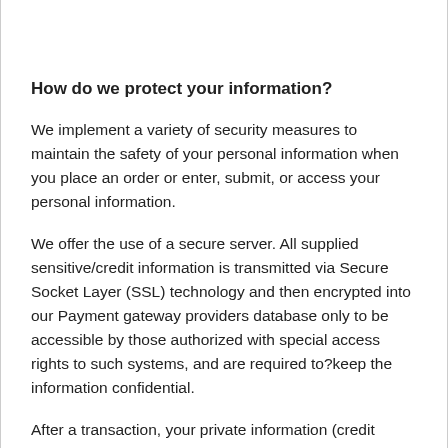How do we protect your information?
We implement a variety of security measures to maintain the safety of your personal information when you place an order or enter, submit, or access your personal information.
We offer the use of a secure server. All supplied sensitive/credit information is transmitted via Secure Socket Layer (SSL) technology and then encrypted into our Payment gateway providers database only to be accessible by those authorized with special access rights to such systems, and are required to?keep the information confidential.
After a transaction, your private information (credit cards, social security numbers, financials, etc.) will not be stored on our servers.